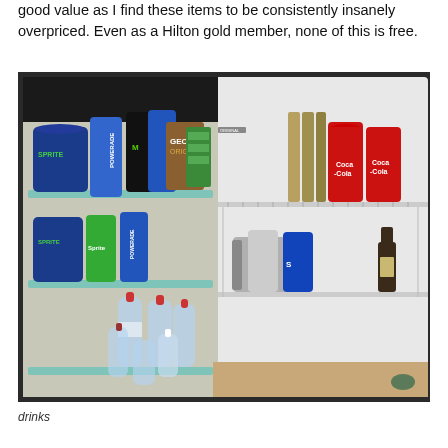good value as I find these items to be consistently insanely overpriced. Even as a Hilton gold member, none of this is free.
[Figure (photo): Open mini-bar refrigerator in a hotel room showing various beverages including Coca-Cola cans, energy drinks, Sprite, Powerade, water bottles, and a small wine bottle arranged on shelves.]
drinks